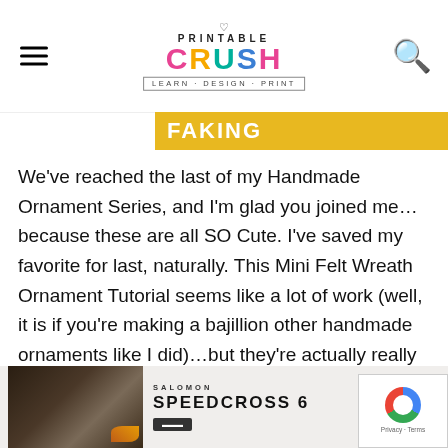PRINTABLE CRUSH — LEARN · DESIGN · PRINT
[Figure (other): Partially visible yellow banner/button with white text, partially cropped at top]
We've reached the last of my Handmade Ornament Series, and I'm glad you joined me… because these are all SO Cute. I've saved my favorite for last, naturally. This Mini Felt Wreath Ornament Tutorial seems like a lot of work (well, it is if you're making a bajillion other handmade ornaments like I did)…but they're actually really easy when you have the right tools.
[Figure (photo): Advertisement showing a Salomon Speedcross 6 running shoe product ad with a trail/ground photo on the left side and product name on right]